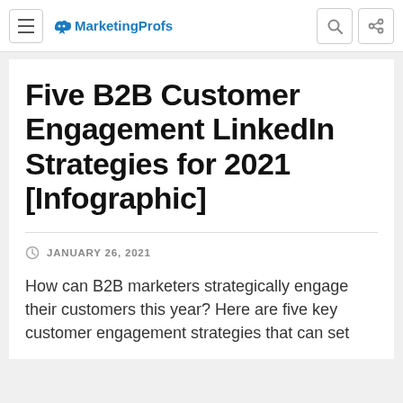MarketingProfs
Five B2B Customer Engagement LinkedIn Strategies for 2021 [Infographic]
JANUARY 26, 2021
How can B2B marketers strategically engage their customers this year? Here are five key customer engagement strategies that can set